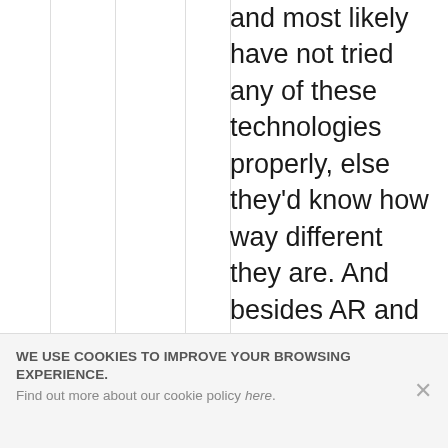and most likely have not tried any of these technologies properly, else they'd know how way different they are. And besides AR and VR being way different than 3D Tv in setup, they are also useful for way different and way more use cases. With 3D tv, well, one got a bit more volumetric visuals, that was it. With AR one gets a combination of virtual
WE USE COOKIES TO IMPROVE YOUR BROWSING EXPERIENCE. Find out more about our cookie policy here.